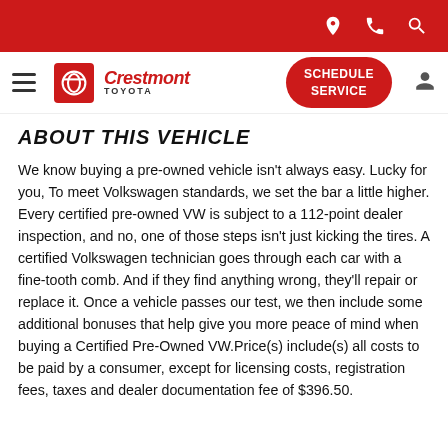Crestmont Toyota — Schedule Service
ABOUT THIS VEHICLE
We know buying a pre-owned vehicle isn't always easy. Lucky for you, To meet Volkswagen standards, we set the bar a little higher. Every certified pre-owned VW is subject to a 112-point dealer inspection, and no, one of those steps isn't just kicking the tires. A certified Volkswagen technician goes through each car with a fine-tooth comb. And if they find anything wrong, they'll repair or replace it. Once a vehicle passes our test, we then include some additional bonuses that help give you more peace of mind when buying a Certified Pre-Owned VW.Price(s) include(s) all costs to be paid by a consumer, except for licensing costs, registration fees, taxes and dealer documentation fee of $396.50.